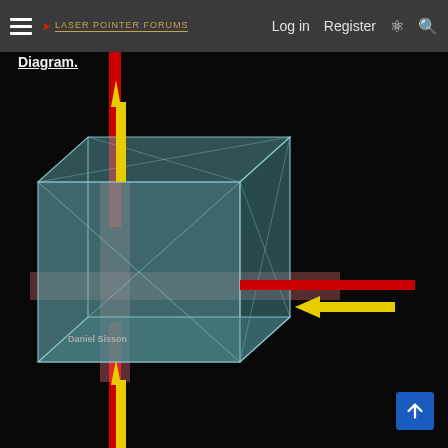Laser Pointer Forums — Log in  Register
Diagram.
[Figure (engineering-diagram): 3D diagram of a glass cube/crystal with a vertical red laser beam passing through it from bottom to top (with yellow upward arrows indicating beam direction) and a horizontal red laser beam entering from the right (with a yellow leftward arrow). The cube is rendered with teal/blue-glass surfaces and diagonal lines on its faces. A pink/light-red cross pattern shows the beam intersection inside the cube. The watermark 'Daniel Sisson' appears at the lower left of the diagram.]